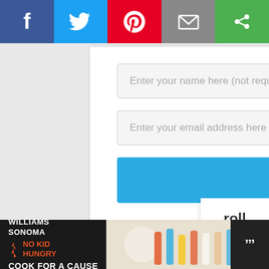[Figure (screenshot): Social sharing bar with Facebook (blue), Twitter (light blue), Pinterest (red), Email (gray), and another green social button with share icon]
Enter your name here (not required)
Enter your email address here
Subscribe
Your information will not be shared with or sold to a third party. This subscription is free of charge and can be canceled at any time.
[Figure (screenshot): Partial scroll-to-top button on right side showing 'roll to on' text]
[Figure (screenshot): Williams Sonoma No Kid Hungry Cook For A Cause advertisement banner at bottom]